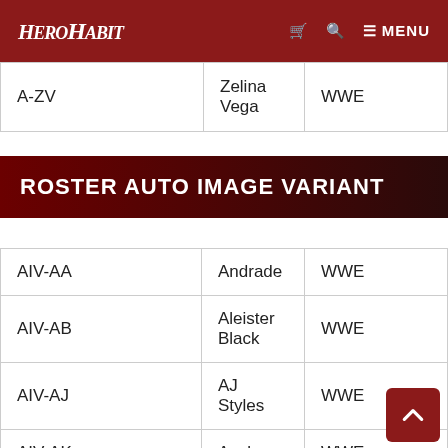HeroHabit — cart, search, MENU
| A-ZV | Zelina Vega | WWE |
ROSTER AUTO IMAGE VARIANT
| AIV-AA | Andrade | WWE |
| AIV-AB | Aleister Black | WWE |
| AIV-AJ | AJ Styles | WWE |
| AIV-AK | Asuka | WWE |
| AIV-AX | Alexa Bliss | WWE |
| AIV-BC | King Corbin | WWE |
| AIV-BD | Diesel | Legend |